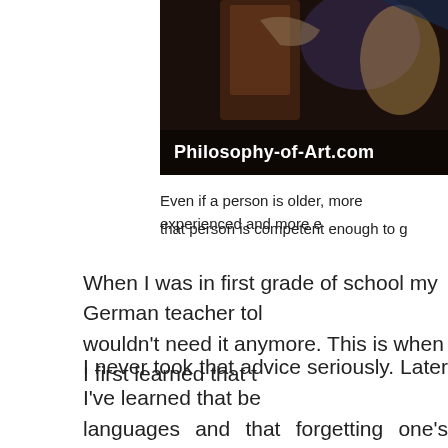[Figure (illustration): Dark painting/illustration shown on right side of page with 'Philosophy-of-Art.com' text overlay in white bold font at bottom left of image]
Even if a person is older, more experienced and more e that person is competent enough to g
When I was in first grade of school my German teacher tol wouldn't need it anymore. This is when I first learned that t
I never took that advice seriously. Later I've learned that be languages and that forgetting one's native language lea Today I have a master's degree in Russian literature and a and am still eager to learn. I don't dare imagining what I teacher's advice.